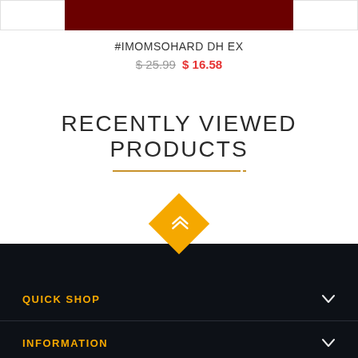[Figure (screenshot): Product image bar with dark red center section]
#IMOMSOHARD DH EX
$ 25.99  $ 16.58
RECENTLY VIEWED PRODUCTS
[Figure (infographic): Orange diamond scroll-to-top button]
QUICK SHOP
INFORMATION
CUSTOMER SERVICE